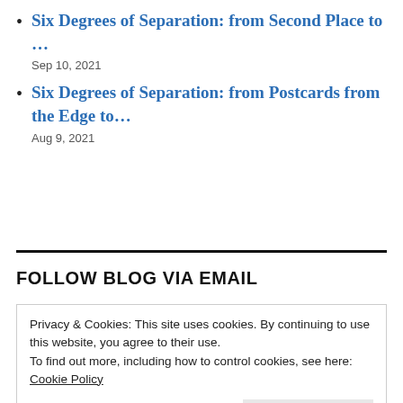Six Degrees of Separation: from Second Place to …
Sep 10, 2021
Six Degrees of Separation: from Postcards from the Edge to…
Aug 9, 2021
FOLLOW BLOG VIA EMAIL
Privacy & Cookies: This site uses cookies. By continuing to use this website, you agree to their use.
To find out more, including how to control cookies, see here:
Cookie Policy
Close and accept